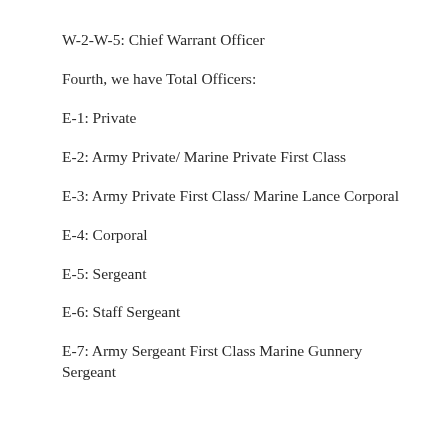W-2-W-5: Chief Warrant Officer
Fourth, we have Total Officers:
E-1: Private
E-2: Army Private/ Marine Private First Class
E-3: Army Private First Class/ Marine Lance Corporal
E-4: Corporal
E-5: Sergeant
E-6: Staff Sergeant
E-7: Army Sergeant First Class Marine Gunnery Sergeant